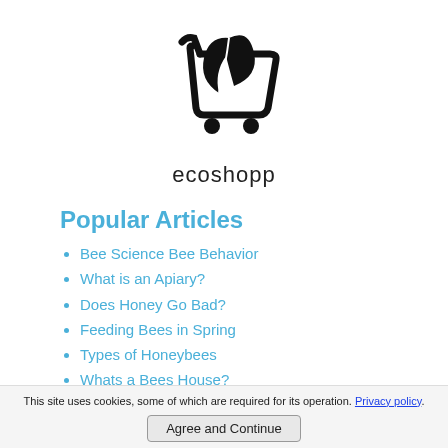[Figure (logo): Ecoshopp logo: shopping cart with leaf icon above text 'ecoshopp']
Popular Articles
Bee Science Bee Behavior
What is an Apiary?
Does Honey Go Bad?
Feeding Bees in Spring
Types of Honeybees
Whats a Bees House?
Organic Beekeeping
How Do Bees Make Honey
This site uses cookies, some of which are required for its operation. Privacy policy.